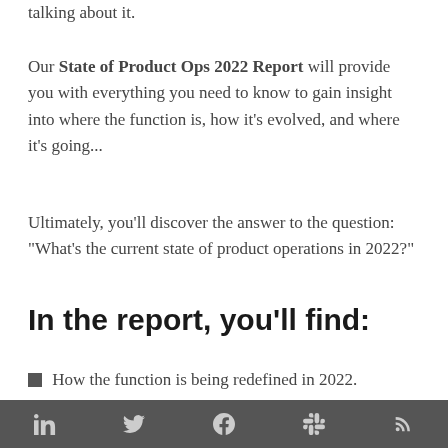talking about it.
Our State of Product Ops 2022 Report will provide you with everything you need to know to gain insight into where the function is, how it's evolved, and where it's going...
Ultimately, you'll discover the answer to the question: “What's the current state of product operations in 2022?”
In the report, you'll find:
How the function is being redefined in 2022.
The evolving key skills and responsibilities
LinkedIn Twitter Facebook Slack RSS